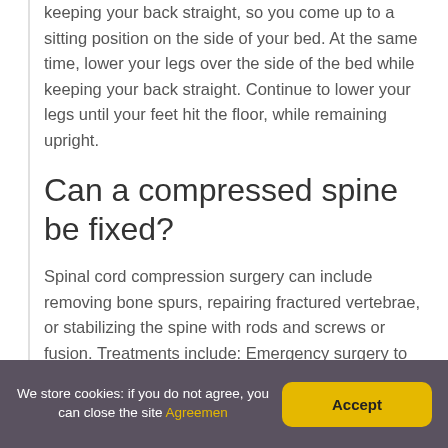keeping your back straight, so you come up to a sitting position on the side of your bed. At the same time, lower your legs over the side of the bed while keeping your back straight. Continue to lower your legs until your feet hit the floor, while remaining upright.
Can a compressed spine be fixed?
Spinal cord compression surgery can include removing bone spurs, repairing fractured vertebrae, or stabilizing the spine with rods and screws or fusion. Treatments include: Emergency surgery to repair a broken spine, which may include removing bone or disc fragments.
We store cookies: if you do not agree, you can close the site Agreemen